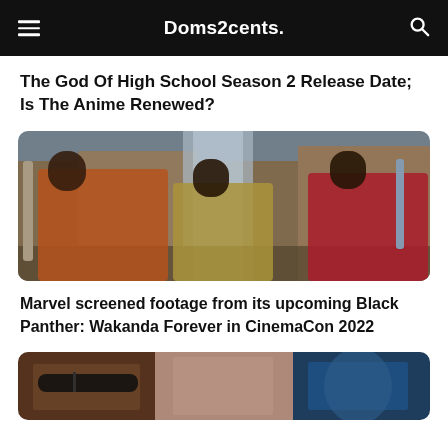Doms2cents.
The God Of High School Season 2 Release Date; Is The Anime Renewed?
[Figure (photo): Three women in warrior costumes from Black Panther: Wakanda Forever standing in front of a waterfall and rocky terrain.]
Marvel screened footage from its upcoming Black Panther: Wakanda Forever in CinemaCon 2022
[Figure (photo): Partially visible collage of three faces: a person with sunglasses, a woman, and a blue-skinned character, partially cut off at the bottom of the page.]